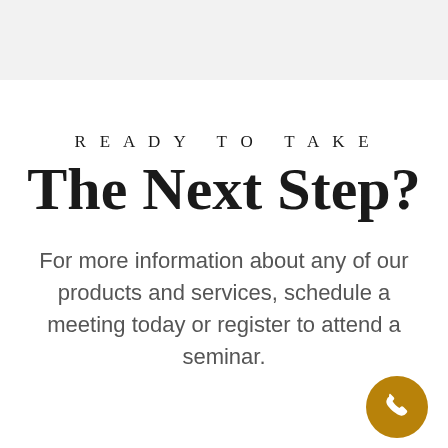READY TO TAKE The Next Step?
For more information about any of our products and services, schedule a meeting today or register to attend a seminar.
[Figure (illustration): Gold/amber circular phone icon button in the bottom-right corner]